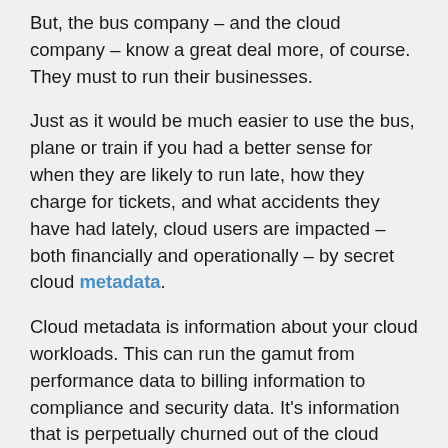But, the bus company – and the cloud company – know a great deal more, of course. They must to run their businesses.
Just as it would be much easier to use the bus, plane or train if you had a better sense for when they are likely to run late, how they charge for tickets, and what accidents they have had lately, cloud users are impacted – both financially and operationally – by secret cloud metadata.
Cloud metadata is information about your cloud workloads. This can run the gamut from performance data to billing information to compliance and security data. It's information that is perpetually churned out of the cloud environment, but rarely reaches the cloud user.
Finally, from your perspective, there are also